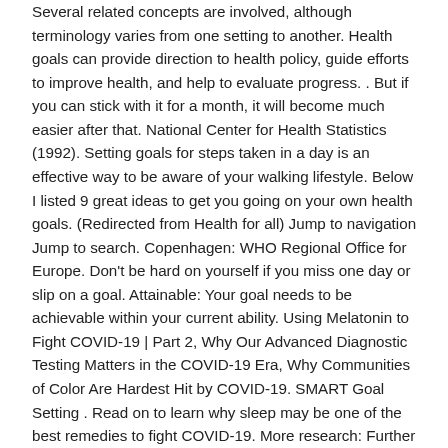Several related concepts are involved, although terminology varies from one setting to another. Health goals can provide direction to health policy, guide efforts to improve health, and help to evaluate progress. . But if you can stick with it for a month, it will become much easier after that. National Center for Health Statistics (1992). Setting goals for steps taken in a day is an effective way to be aware of your walking lifestyle. Below I listed 9 great ideas to get you going on your own health goals. (Redirected from Health for all) Jump to navigation Jump to search. Copenhagen: WHO Regional Office for Europe. Don't be hard on yourself if you miss one day or slip on a goal. Attainable: Your goal needs to be achievable within your current ability. Using Melatonin to Fight COVID-19 | Part 2, Why Our Advanced Diagnostic Testing Matters in the COVID-19 Era, Why Communities of Color Are Hardest Hit by COVID-19. SMART Goal Setting . Read on to learn why sleep may be one of the best remedies to fight COVID-19. More research: Further data and research can be found at the Our World in Data entry on Financing Healthcare. When setting goals, it's important to do so in such a way that allows you to obtain them and naturally weave them into your daily life. And while health goals commonly have to do with weight loss, your health is also about integrating self-care